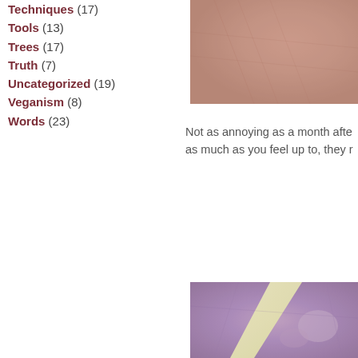Techniques (17)
Tools (13)
Trees (17)
Truth (7)
Uncategorized (19)
Veganism (8)
Words (23)
[Figure (photo): Close-up photo of skin/hand, pinkish-brown tones, top right corner]
Not as annoying as a month after as much as you feel up to, they r
[Figure (photo): Close-up photo of hand/skin with yellow object, purplish-pink tones, bottom right]